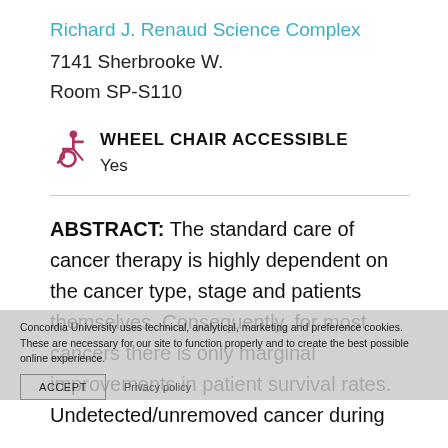Richard J. Renaud Science Complex
7141 Sherbrooke W.
Room SP-S110
WHEEL CHAIR ACCESSIBLE
Yes
ABSTRACT:  The standard care of cancer therapy is highly dependent on the cancer type, stage and patients themselves. Consequently, for most cancers there is only marginal improvements in patient survival rates. Undetected/unremoved cancer during